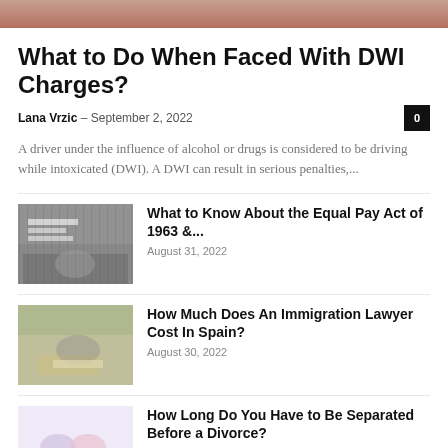[Figure (photo): Top cropped photo, brownish/reddish tones]
What to Do When Faced With DWI Charges?
Lana Vrzic – September 2, 2022
A driver under the influence of alcohol or drugs is considered to be driving while intoxicated (DWI). A DWI can result in serious penalties,...
[Figure (photo): Black and white photo of Equal Pay protest with signs reading EQUAL POSITIONS EQUAL PAY]
What to Know About the Equal Pay Act of 1963 &...
August 31, 2022
[Figure (photo): Photo of a person (immigration lawyer) at a desk with an open book]
How Much Does An Immigration Lawyer Cost In Spain?
August 30, 2022
[Figure (photo): Photo of two people with clasped hands over a table with paper and a broken heart decoration]
How Long Do You Have to Be Separated Before a Divorce?
August 26, 2022